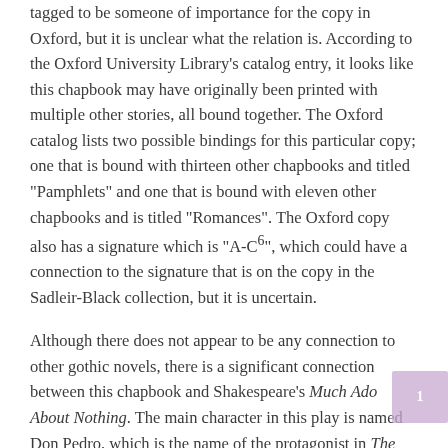tagged to be someone of importance for the copy in Oxford, but it is unclear what the relation is. According to the Oxford University Library's catalog entry, it looks like this chapbook may have originally been printed with multiple other stories, all bound together. The Oxford catalog lists two possible bindings for this particular copy; one that is bound with thirteen other chapbooks and titled "Pamphlets" and one that is bound with eleven other chapbooks and is titled "Romances". The Oxford copy also has a signature which is "A-C⁶", which could have a connection to the signature that is on the copy in the Sadleir-Black collection, but it is uncertain.
Although there does not appear to be any connection to other gothic novels, there is a significant connection between this chapbook and Shakespeare's Much Ado About Nothing. The main character in this play is named Don Pedro, which is the name of the protagonist in The Convent Spectre; or Unfortunate Daughter. There are also many parallels between the two characters. In Much Ado About